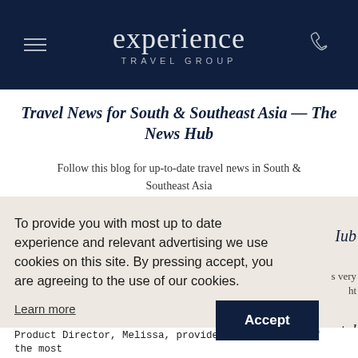Experience Travel Group
Travel News for South & Southeast Asia — The News Hub
Follow this blog for up-to-date travel news in South & Southeast Asia
To provide you with most up to date experience and relevant advertising we use cookies on this site. By pressing accept, you are agreeing to the use of our cookies.
Learn more
Accept
Product Director, Melissa, provides her round-up of the most